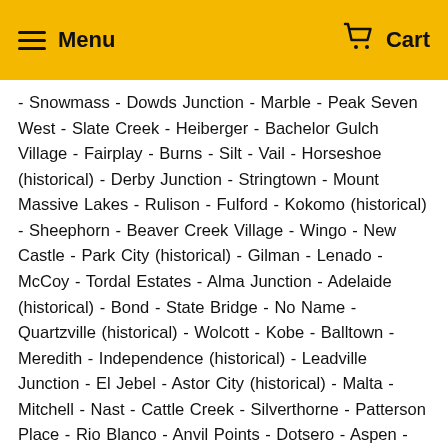Menu  Cart
- Snowmass - Dowds Junction - Marble - Peak Seven West - Slate Creek - Heiberger - Bachelor Gulch Village - Fairplay - Burns - Silt - Vail - Horseshoe (historical) - Derby Junction - Stringtown - Mount Massive Lakes - Rulison - Fulford - Kokomo (historical) - Sheephorn - Beaver Creek Village - Wingo - New Castle - Park City (historical) - Gilman - Lenado - McCoy - Tordal Estates - Alma Junction - Adelaide (historical) - Bond - State Bridge - No Name - Quartzville (historical) - Wolcott - Kobe - Balltown - Meredith - Independence (historical) - Leadville Junction - El Jebel - Astor City (historical) - Malta - Mitchell - Nast - Cattle Creek - Silverthorne - Patterson Place - Rio Blanco - Anvil Points - Dotsero - Aspen - Mulford - Carbondale - Holy Cross City (historical) - Dell - Climax (historical) - Birdseye - Plateau City - Grand Mesa - Edwards - Chacra - Satank - Oro (historical) - Brumley (historical) - Carbonate (historical) - Pando - Antlers - Resurrection Mill - Avon - Biglow - Catherine - Doenz Place - Leadville - Preston (historical) - West Vail - Kiggin - Eagle - Snowmass Village - Gold Hill - Belden - Blue River - Emma - Glenwood Springs - Arrowhead Village - Mid Vail - Buford -